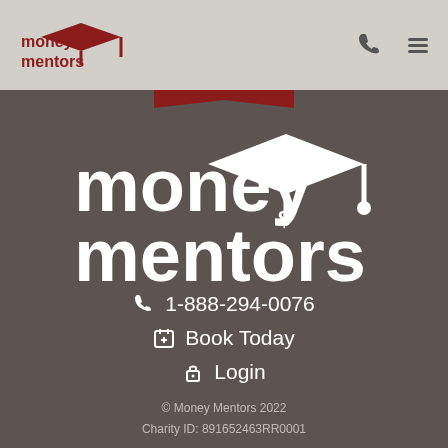[Figure (logo): Money Mentors logo (small, dark red) in grey header bar with phone icon and hamburger menu icon]
[Figure (logo): Money Mentors large white logo with graduation cap icon on dark grey background]
1-888-294-0076
Book Today
Login
© Money Mentors 2022
Charity ID: 891652463RR0001
[Figure (infographic): Row of 5 social media icon circles: Facebook, Twitter, Instagram, LinkedIn, YouTube]